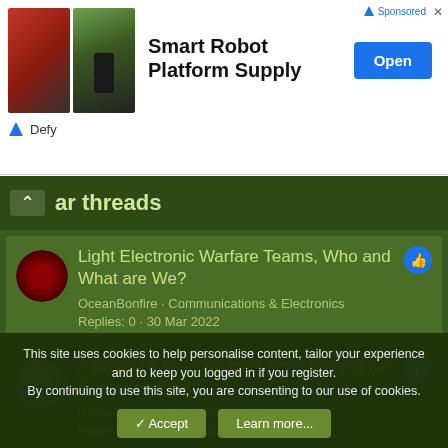[Figure (screenshot): Advertisement banner for Smart Robot Platform Supply by Defy, showing two robot vehicle images, Open button, and sponsored label]
ar threads
Light Electronic Warfare Teams, Who and What are We? — OceanBonfire · Communications & Electronics — Replies: 0 · 30 Mar 2022
A proposal for combined arms training for Reserve officers — daftandbarmy · The Canadian Military — Replies: 37 · 13 Sep 2021
This site uses cookies to help personalise content, tailor your experience and to keep you logged in if you register.
By continuing to use this site, you are consenting to our use of cookies.